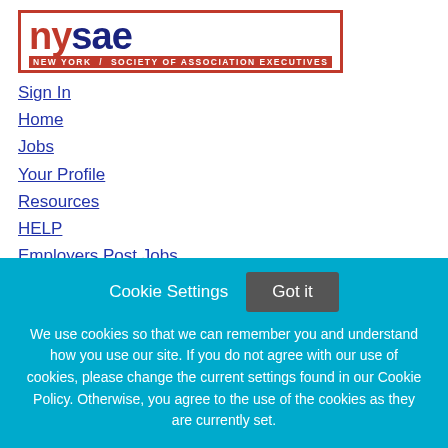[Figure (logo): NYSAE logo - New York Society of Association Executives, red and dark blue lettering with red border]
Sign In
Home
Jobs
Your Profile
Resources
HELP
Employers Post Jobs
CAREER COACHING
Cookie Settings  Got it

We use cookies so that we can remember you and understand how you use our site. If you do not agree with our use of cookies, please change the current settings found in our Cookie Policy. Otherwise, you agree to the use of the cookies as they are currently set.